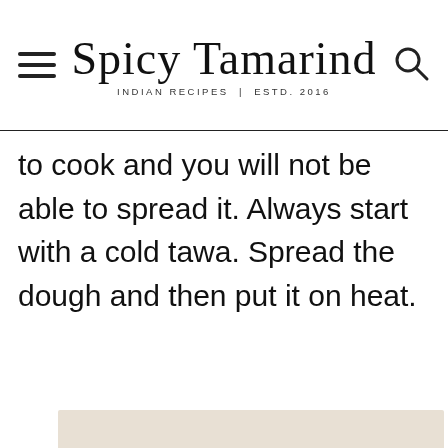Spicy Tamarind — INDIAN RECIPES | ESTD. 2016
to cook and you will not be able to spread it. Always start with a cold tawa. Spread the dough and then put it on heat.
[Figure (photo): Partially visible image at the bottom of the page, tan/beige colored background suggesting food photography]